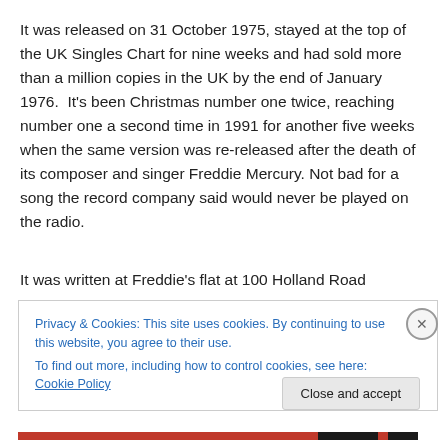It was released on 31 October 1975, stayed at the top of the UK Singles Chart for nine weeks and had sold more than a million copies in the UK by the end of January 1976.  It's been Christmas number one twice, reaching number one a second time in 1991 for another five weeks when the same version was re-released after the death of its composer and singer Freddie Mercury. Not bad for a song the record company said would never be played on the radio.
It was written at Freddie's flat at 100 Holland Road
Privacy & Cookies: This site uses cookies. By continuing to use this website, you agree to their use.
To find out more, including how to control cookies, see here: Cookie Policy